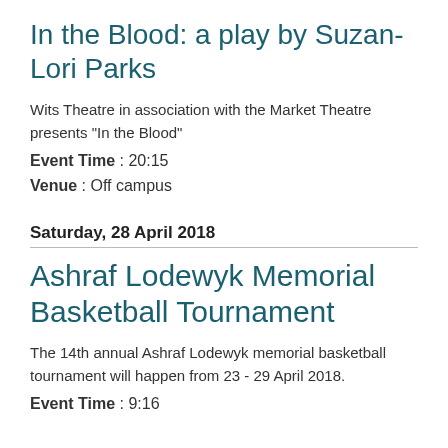In the Blood: a play by Suzan-Lori Parks
Wits Theatre in association with the Market Theatre presents "In the Blood"
Event Time : 20:15
Venue : Off campus
Saturday, 28 April 2018
Ashraf Lodewyk Memorial Basketball Tournament
The 14th annual Ashraf Lodewyk memorial basketball tournament will happen from 23 - 29 April 2018.
Event Time : 9:16